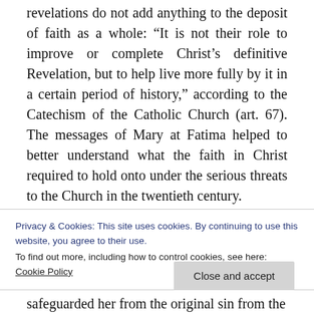revelations do not add anything to the deposit of faith as a whole: “It is not their role to improve or complete Christ’s definitive Revelation, but to help live more fully by it in a certain period of history,” according to the Catechism of the Catholic Church (art. 67). The messages of Mary at Fatima helped to better understand what the faith in Christ required to hold onto under the serious threats to the Church in the twentieth century.
A specific guidance from Mary at Fatima was her call to consecrate Russia, but also other
Privacy & Cookies: This site uses cookies. By continuing to use this website, you agree to their use.
To find out more, including how to control cookies, see here: Cookie Policy
safeguarded her from the original sin from the